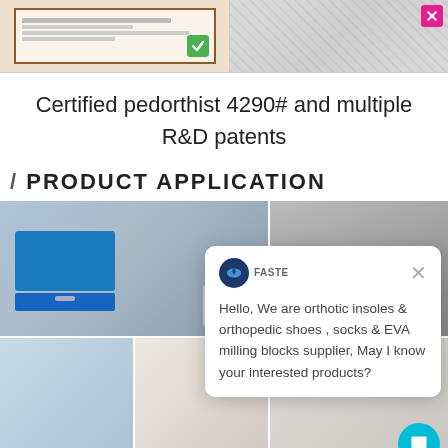[Figure (photo): Two side-by-side product images: left shows a certificate/document with a green checkmark badge, right shows a fabric/textile with a pink X badge]
Certified pedorthist 4290# and multiple R&D patents
/ PRODUCT APPLICATION
[Figure (photo): Grid of medical/clinical photos showing foot care procedures and a chat popup overlay reading: Hello, We are orthotic insoles & orthopedic shoes , socks & EVA milling blocks supplier, May I know your interested products?]
Hello, We are orthotic insoles & orthopedic shoes , socks & EVA milling blocks supplier, May I know your interested products?